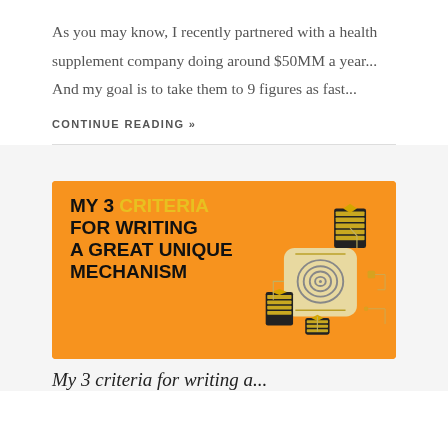As you may know, I recently partnered with a health supplement company doing around $50MM a year...  And my goal is to take them to 9 figures as fast...
CONTINUE READING »
[Figure (illustration): Orange banner image with bold text reading 'MY 3 CRITERIA FOR WRITING A GREAT UNIQUE MECHANISM' alongside an isometric fingerprint scanner illustration with circuit board elements]
My 3 criteria for writing a...